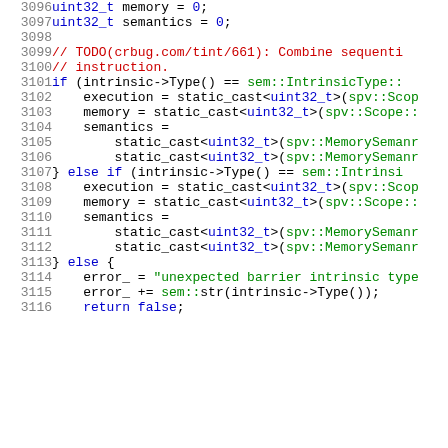[Figure (screenshot): Source code listing showing C++ code lines 3096-3116, with syntax highlighting. Line numbers in gray on the left, code on the right. Keywords in blue, strings in green, comments in red.]